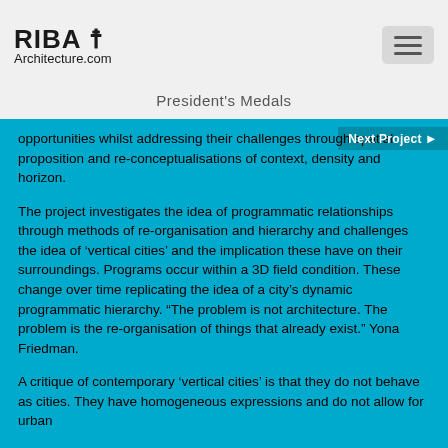RIBA Architecture.com
President's Medals
opportunities whilst addressing their challenges through spatial proposition and re-conceptualisations of context, density and horizon.
The project investigates the idea of programmatic relationships through methods of re-organisation and hierarchy and challenges the idea of 'vertical cities' and the implication these have on their surroundings. Programs occur within a 3D field condition. These change over time replicating the idea of a city's dynamic programmatic hierarchy. “The problem is not architecture. The problem is the re-organisation of things that already exist.” Yona Friedman.
A critique of contemporary ‘vertical cities’ is that they do not behave as cities. They have homogeneous expressions and do not allow for urban
[Figure (screenshot): Small thumbnail screenshot with caption text and a horizontal line divider]